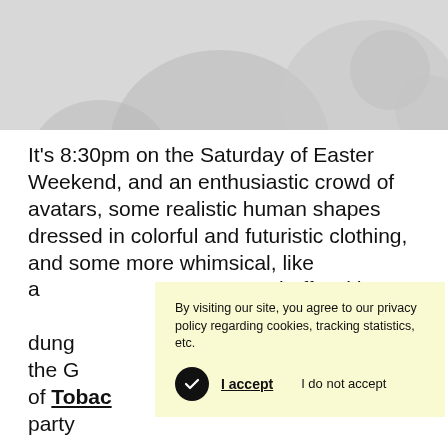[Figure (photo): Partial photo showing abstract shapes or figures, grayscale/white, cropped at top of page]
It’s 8:30pm on the Saturday of Easter Weekend, and an enthusiastic crowd of avatars, some realistic human shapes dressed in colorful and futuristic clothing, and some more whimsical, like a [giraffe] with [dungarees] of the G[...] n of Tobac[...] party
By visiting our site, you agree to our privacy policy regarding cookies, tracking statistics, etc.
I accept   I do not accept
On the stage stands the real-life, holographic figure of Tim Reaper. The British DJ visibly delights his perky